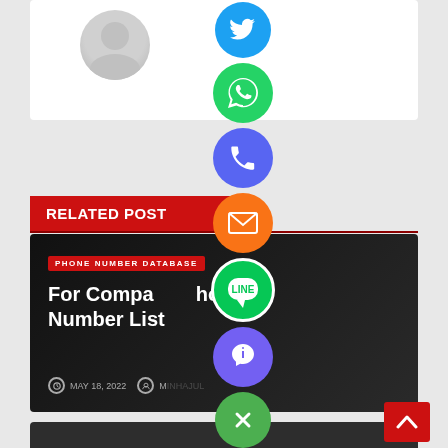[Figure (screenshot): Top white card with avatar/profile image placeholder (gray circle silhouette)]
[Figure (illustration): Vertical column of social share buttons: Twitter/blue, WhatsApp/green, Phone/blue-purple, Email/orange, LINE/green, Viber/purple, close/green X]
RELATED POST
[Figure (screenshot): Article card with dark background. Tag: PHONE NUMBER DATABASE. Title: For Company Phone Number List. Date: MAY 18, 2022. Author visible partially.]
[Figure (screenshot): Bottom dark card, partially visible]